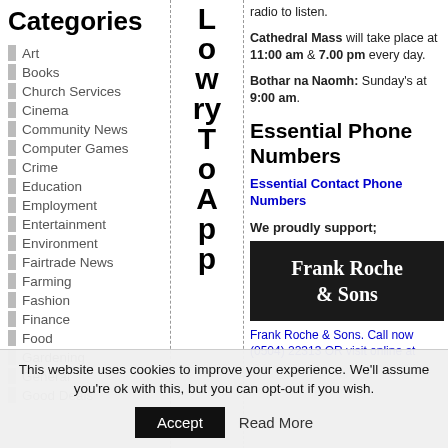Categories
Art
Books
Church Services
Cinema
Community News
Computer Games
Crime
Education
Employment
Entertainment
Environment
Fairtrade News
Farming
Fashion
Finance
Food
Gardening
General
Good Deals
[Figure (other): Vertical text spelling 'LowryToApp' arranged vertically in large bold letters]
radio to listen.
Cathedral Mass will take place at 11:00 am & 7.00 pm every day.
Bothar na Naomh: Sunday's at 9:00 am.
Essential Phone Numbers
Essential Contact Phone Numbers
We proudly support;
[Figure (logo): Frank Roche & Sons logo — white text on dark/black background]
Frank Roche & Sons. Call now (0504) 22313 OR visit online at
This website uses cookies to improve your experience. We'll assume you're ok with this, but you can opt-out if you wish.